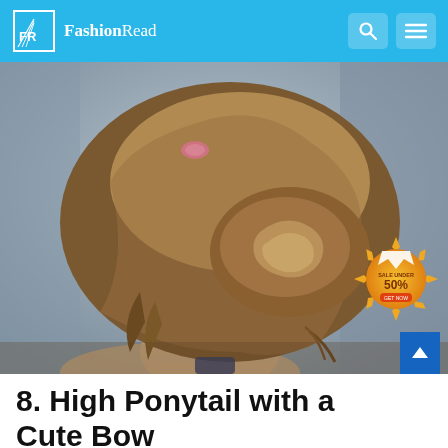FashionRead
[Figure (photo): Back view of a woman with a high ponytail styled into an elegant twisted bun/bow updo hairstyle. Brown hair with highlights, pink hair tie visible at the crown. Background is grey-blue.]
[Figure (other): Sale badge - orange/gold sunburst shape with crown icon, text reading SALE UNDER 50% GET NOW]
8. High Ponytail with a Cute Bow